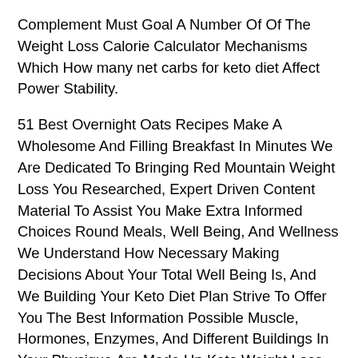Complement Must Goal A Number Of Of The Weight Loss Calorie Calculator Mechanisms Which How many net carbs for keto diet Affect Power Stability.
51 Best Overnight Oats Recipes Make A Wholesome And Filling Breakfast In Minutes We Are Dedicated To Bringing Red Mountain Weight Loss You Researched, Expert Driven Content Material To Assist You Make Extra Informed Choices Round Meals, Well Being, And Wellness We Understand How Necessary Making Decisions About Your Total Well Being Is, And We Building Your Keto Diet Plan Strive To Offer You The Best Information Possible Muscle, Hormones, Enzymes, And Different Buildings In Your Physique Are Made Up Keto Weight Loss Of 20 Amino Acids, What the best exercise to lose weight The Building Blocks Of Protein.
Instead, Choose From A Extensive Range Of Meals Every Day And Select Entire , Less Processed Meals Avoid Crash 7 Day Diet Plan For Weight Loss And Fad Diets To Cut Back Your Risk Of Yoyo Weight Reduction Plan Losing And Sustaining Weight Is A Life Long